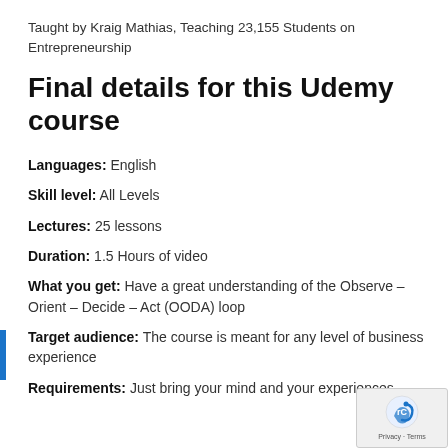Taught by Kraig Mathias, Teaching 23,155 Students on Entrepreneurship
Final details for this Udemy course
Languages: English
Skill level: All Levels
Lectures: 25 lessons
Duration: 1.5 Hours of video
What you get: Have a great understanding of the Observe – Orient – Decide – Act (OODA) loop
Target audience: The course is meant for any level of business experience
Requirements: Just bring your mind and your experiences